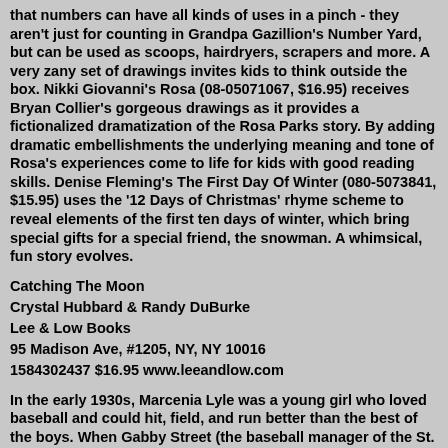that numbers can have all kinds of uses in a pinch - they aren't just for counting in Grandpa Gazillion's Number Yard, but can be used as scoops, hairdryers, scrapers and more. A very zany set of drawings invites kids to think outside the box. Nikki Giovanni's Rosa (08-05071067, $16.95) receives Bryan Collier's gorgeous drawings as it provides a fictionalized dramatization of the Rosa Parks story. By adding dramatic embellishments the underlying meaning and tone of Rosa's experiences come to life for kids with good reading skills. Denise Fleming's The First Day Of Winter (080-5073841, $15.95) uses the '12 Days of Christmas' rhyme scheme to reveal elements of the first ten days of winter, which bring special gifts for a special friend, the snowman. A whimsical, fun story evolves.
Catching The Moon
Crystal Hubbard & Randy DuBurke
Lee & Low Books
95 Madison Ave, #1205, NY, NY 10016
1584302437 $16.95 www.leeandlow.com
In the early 1930s, Marcenia Lyle was a young girl who loved baseball and could hit, field, and run better than the best of the boys. When Gabby Street (the baseball manager of the St. Louis Cardinals) came to recruit children for his baseball camp, Marcenia realized that his camp could be her first step for the road to playing baseball with the pros. But M...